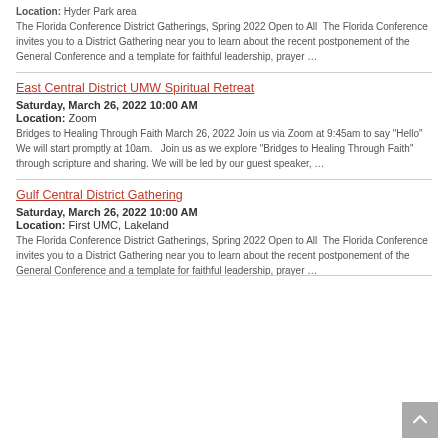The Florida Conference District Gatherings, Spring 2022 Open to All  The Florida Conference invites you to a District Gathering near you to learn about the recent postponement of the General Conference and a template for faithful leadership, prayer …
East Central District UMW Spiritual Retreat
Saturday, March 26, 2022 10:00 AM
Location: Zoom
Bridges to Healing Through Faith March 26, 2022 Join us via Zoom at 9:45am to say "Hello" We will start promptly at 10am.  Join us as we explore "Bridges to Healing Through Faith" through scripture and sharing. We will be led by our guest speaker, …
Gulf Central District Gathering
Saturday, March 26, 2022 10:00 AM
Location: First UMC, Lakeland
The Florida Conference District Gatherings, Spring 2022 Open to All  The Florida Conference invites you to a District Gathering near you to learn about the recent postponement of the General Conference and a template for faithful leadership, prayer …